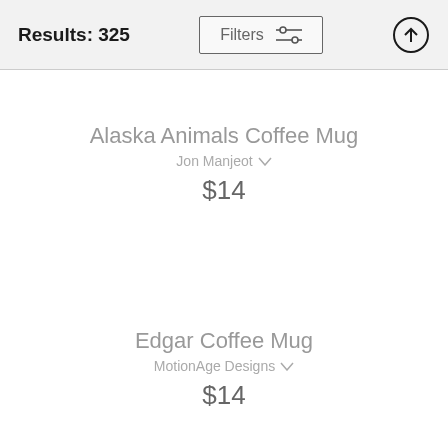Results: 325  Filters
Alaska Animals Coffee Mug
Jon Manjeot
$14
Edgar Coffee Mug
MotionAge Designs
$14